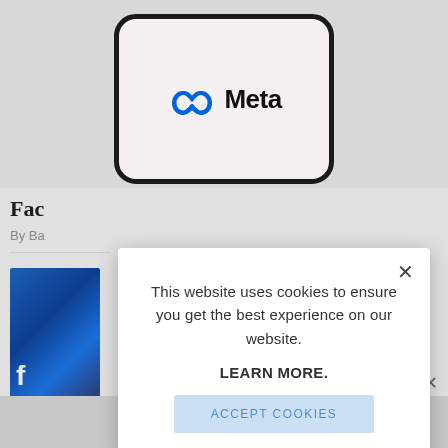[Figure (screenshot): Screenshot of a webpage showing Meta logo on a smartphone screen, with a cookie consent modal overlay. The page shows a partial article title 'Face...' and byline 'By Ba...' with a blue image (Facebook keyboard). The modal contains a cookie notice with 'This website uses cookies to ensure you get the best experience on our website. LEARN MORE.' and an 'ACCEPT COOKIES' button.]
This website uses cookies to ensure you get the best experience on our website.
LEARN MORE.
ACCEPT COOKIES